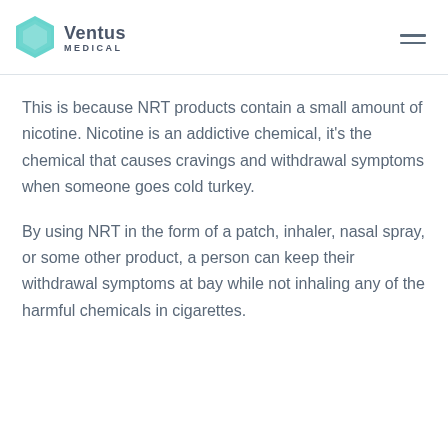Ventus Medical
This is because NRT products contain a small amount of nicotine. Nicotine is an addictive chemical, it’s the chemical that causes cravings and withdrawal symptoms when someone goes cold turkey.
By using NRT in the form of a patch, inhaler, nasal spray, or some other product, a person can keep their withdrawal symptoms at bay while not inhaling any of the harmful chemicals in cigarettes.